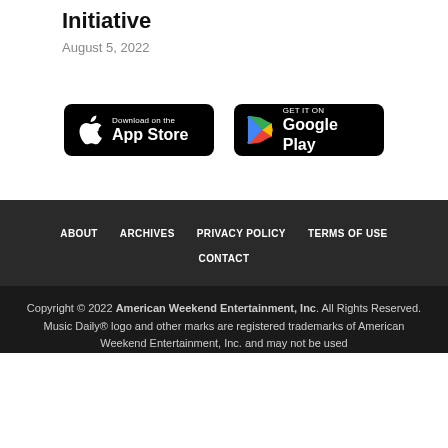Initiative
August 5, 2022
[Figure (logo): App Store download badge (black, Apple logo, 'Download on the App Store')]
[Figure (logo): Google Play download badge (black, Play triangle logo, 'GET IT ON Google Play')]
ABOUT   ARCHIVES   PRIVACY POLICY   TERMS OF USE   CONTACT
Copyright © 2022 American Weekend Entertainment, Inc. All Rights Reserved. Music Daily® logo and other marks are registered trademarks of American Weekend Entertainment, Inc. and may not be used